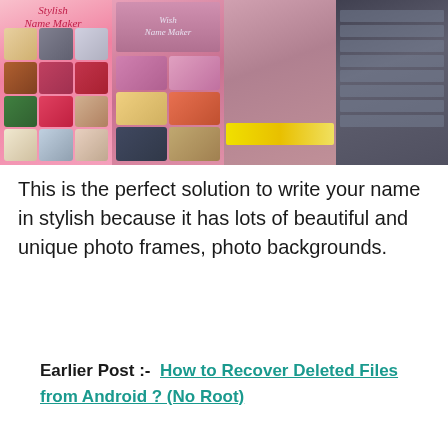[Figure (screenshot): Four app screenshot panels showing a Stylish Name Maker app with pink backgrounds, photo grids, name editor, nickname overlays, and dark UI editing tools]
This is the perfect solution to write your name in stylish because it has lots of beautiful and unique photo frames, photo backgrounds.
Earlier Post :-  How to Recover Deleted Files from Android ? (No Root)